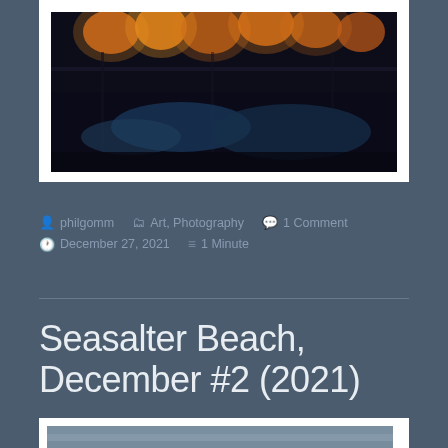[Figure (photo): Dark atmospheric photo showing glowing lights/lanterns suspended above what appears to be a water or reflective surface, with dark blue tones]
philgomm   Art, Photography   1 Comment
December 27, 2021   1 Minute
Seasalter Beach, December #2 (2021)
[Figure (photo): Partial view of a second photo, showing the beginning of a beach scene]